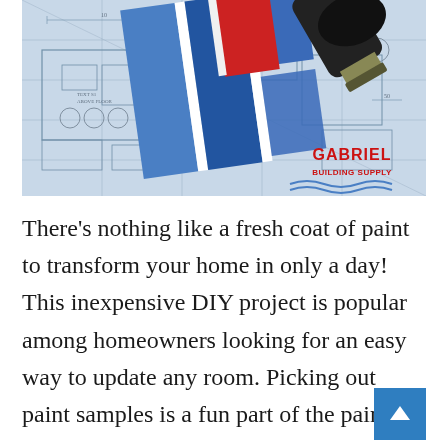[Figure (photo): Photo of paint color swatches (blue, red, white rectangles) placed on architectural blueprints with a paintbrush, featuring Gabriel Building Supply logo in the bottom right]
There's nothing like a fresh coat of paint to transform your home in only a day! This inexpensive DIY project is popular among homeowners looking for an easy way to update any room. Picking out paint samples is a fun part of the painting